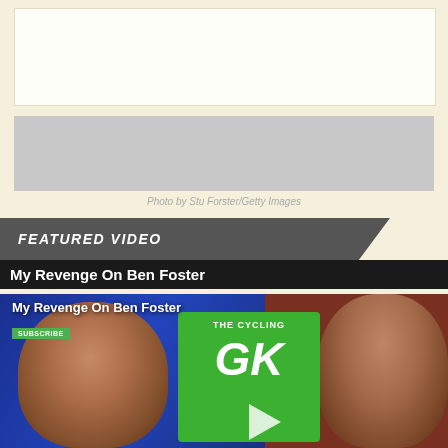[Figure (photo): Top area with white placeholder box and grey banner image area on cream/beige background]
Photo by Stu Forster/Getty Images
FEATURED VIDEO
My Revenge On Ben Foster
[Figure (screenshot): YouTube video thumbnail showing 'My Revenge On Ben Foster' - The Cycling GK channel. Left side shows a smiling bearded man in blue football kit, right side shows a surprised-looking young man against a brick wall background. Green cycling GK logo in center. Green SUBSCRIBE badge visible.]